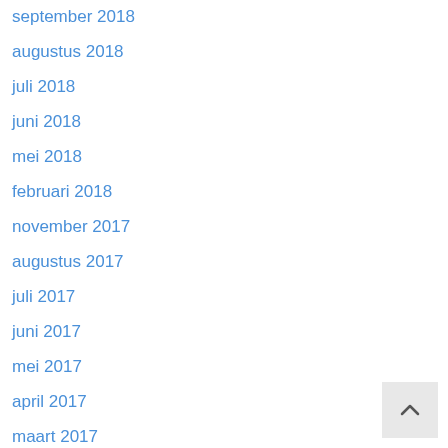september 2018
augustus 2018
juli 2018
juni 2018
mei 2018
februari 2018
november 2017
augustus 2017
juli 2017
juni 2017
mei 2017
april 2017
maart 2017
februari 2017
november 2016
oktober 2016